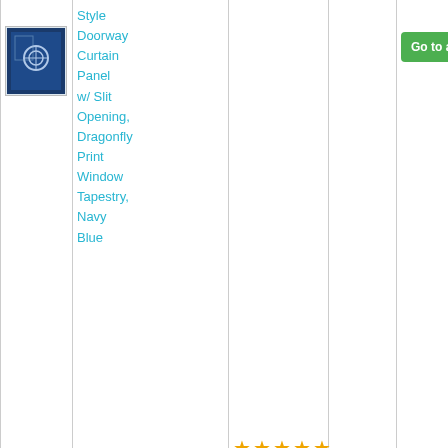| Image | Product Name | Rating | Price | Link |
| --- | --- | --- | --- | --- |
| [image] | Style Doorway Curtain Panel w/ Slit Opening, Dragonfly Print Window Tapestry, Navy Blue | ★★★★★ |  | Go to amazon |
|  | Fovitec - 24" LED |  |  |  |